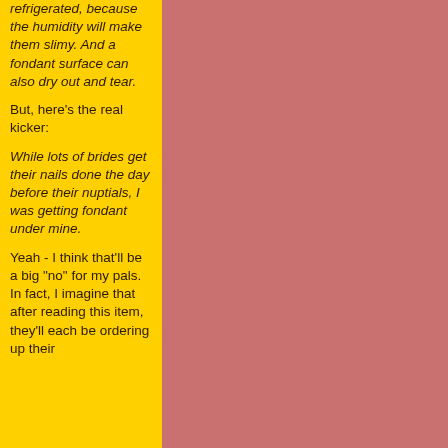refrigerated, because the humidity will make them slimy. And a fondant surface can also dry out and tear.
But, here's the real kicker:
While lots of brides get their nails done the day before their nuptials, I was getting fondant under mine.
Yeah - I think that'll be a big "no" for my pals. In fact, I imagine that after reading this item, they'll each be ordering up their